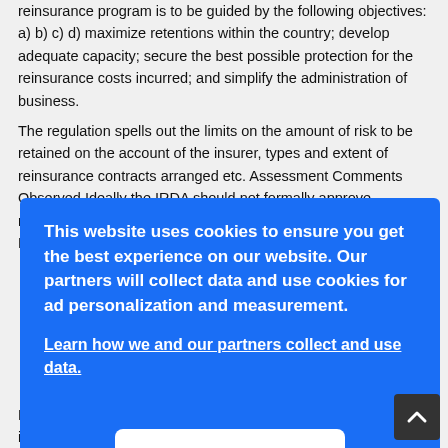reinsurance program is to be guided by the following objectives: a) b) c) d) maximize retentions within the country; develop adequate capacity; secure the best possible protection for the reinsurance costs incurred; and simplify the administration of business.
The regulation spells out the limits on the amount of risk to be retained on the account of the insurer, types and extent of reinsurance contracts arranged etc. Assessment Comments Observed Ideally the IRDA should not formally approve reinsurance schedules as this could expose it to legal liability. Rather all reinsurance schedules should be submitted to
[Figure (screenshot): Cookie consent overlay on blue background with text: 'This website uses cookies to ensure you get the best experience on our website. Our partners will collect data and use cookies for ad personalization and measurement.' with a link 'Learn how we and our partners collect and use data.' and an OK button.]
Regulations 2000. The valuation of liabilities for traditional insurance